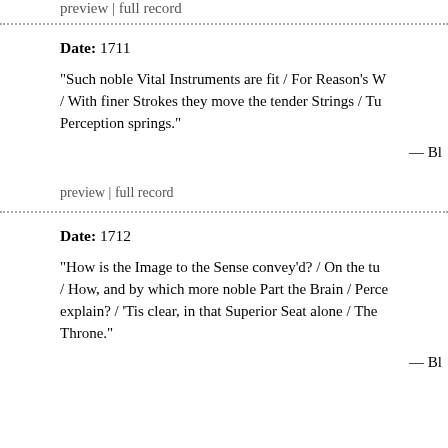preview | full record
Date: 1711
"Such noble Vital Instruments are fit / For Reason's W / With finer Strokes they move the tender Strings / Tur Perception springs."
— Bl
preview | full record
Date: 1712
"How is the Image to the Sense convey'd? / On the tum / How, and by which more noble Part the Brain / Perce explain? / 'Tis clear, in that Superior Seat alone / The . Throne."
— Bl